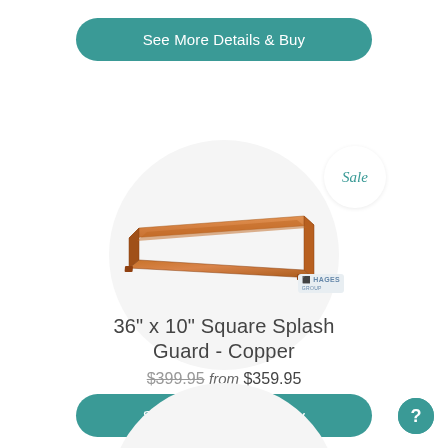[Figure (other): Teal rounded button labeled 'See More Details & Buy']
[Figure (photo): Product image of a long rectangular copper-colored splash guard tray inside a circular frame with a 'Sale' badge]
36" x 10" Square Splash Guard - Copper
$399.95 from $359.95
[Figure (other): Teal rounded button labeled 'See More Details & Buy']
[Figure (other): Partial circular product frame at bottom with 'Sale' badge, and a teal question-mark circle button]